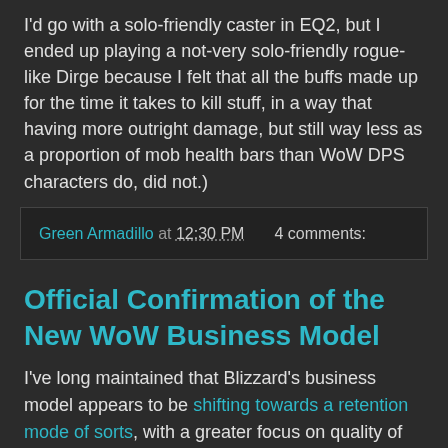I'd go with a solo-friendly caster in EQ2, but I ended up playing a not-very solo-friendly rogue-like Dirge because I felt that all the buffs made up for the time it takes to kill stuff, in a way that having more outright damage, but still way less as a proportion of mob health bars than WoW DPS characters do, did not.)
Green Armadillo at 12:30 PM    4 comments:
Official Confirmation of the New WoW Business Model
I've long maintained that Blizzard's business model appears to be shifting towards a retention mode of sorts, with a greater focus on quality of life features like dual specs and swimming ground mounts.
The TBC era mega-patch, which appears to be the model for the Wrath era, really shifts the focus towards major, headline grabbing packages that just so happen to contain something...